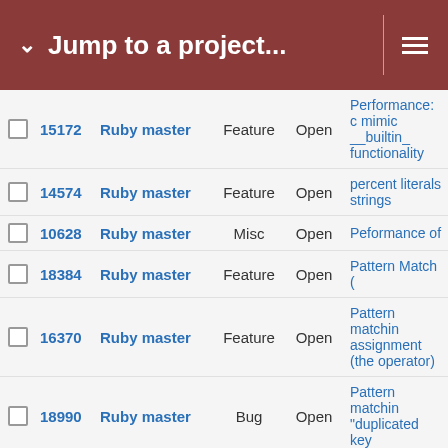Jump to a project...
|  | ID | Project | Type | Status | Description |
| --- | --- | --- | --- | --- | --- |
|  | 15172 | Ruby master | Feature | Open | Performance: c mimic __builtin_ functionality |
|  | 14574 | Ruby master | Feature | Open | percent literals strings |
|  | 10628 | Ruby master | Misc | Open | Peformance of |
|  | 18384 | Ruby master | Feature | Open | Pattern Match ( |
|  | 16370 | Ruby master | Feature | Open | Pattern matchin assignment (the operator) |
|  | 18990 | Ruby master | Bug | Open | Pattern matchin "duplicated key |
|  | 17925 | Ruby master | Bug | Open | Pattern matchin semicolon one- |
|  | 15918 | Ruby master | Feature | Open | Pattern matchin |
|  | 18583 | Ruby master | Feature | Open | Pattern-matchin unpacking strat |
|  | 14715 | Ruby master | Feature | Open | Pathname#== s #realpath instea |